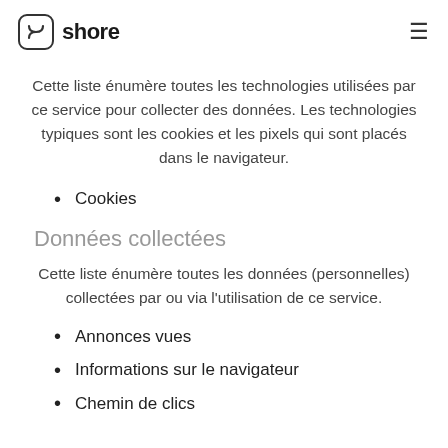shore
Cette liste énumère toutes les technologies utilisées par ce service pour collecter des données. Les technologies typiques sont les cookies et les pixels qui sont placés dans le navigateur.
Cookies
Données collectées
Cette liste énumère toutes les données (personnelles) collectées par ou via l'utilisation de ce service.
Annonces vues
Informations sur le navigateur
Chemin de clics